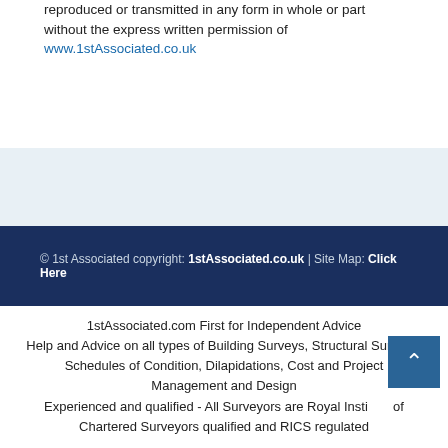reproduced or transmitted in any form in whole or part without the express written permission of www.1stAssociated.co.uk
© 1st Associated copyright: 1stAssociated.co.uk | Site Map: Click Here
1stAssociated.com First for Independent Advice Help and Advice on all types of Building Surveys, Structural Surveys, Schedules of Condition, Dilapidations, Cost and Project Management and Design Experienced and qualified - All Surveyors are Royal Institute of Chartered Surveyors qualified and RICS regulated